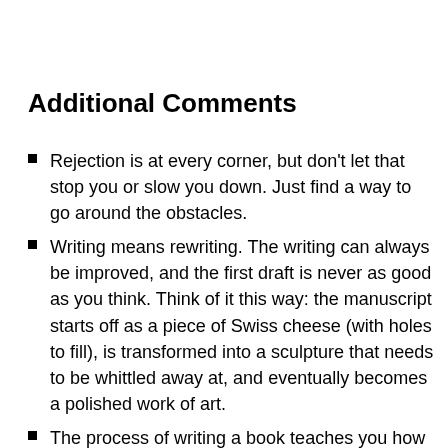Additional Comments
Rejection is at every corner, but don’t let that stop you or slow you down. Just find a way to go around the obstacles.
Writing means rewriting. The writing can always be improved, and the first draft is never as good as you think. Think of it this way: the manuscript starts off as a piece of Swiss cheese (with holes to fill), is transformed into a sculpture that needs to be whittled away at, and eventually becomes a polished work of art.
The process of writing a book teaches you how to